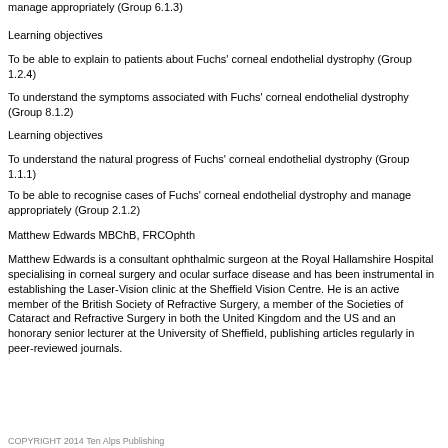manage appropriately (Group 6.1.3)
Learning objectives
To be able to explain to patients about Fuchs' corneal endothelial dystrophy (Group 1.2.4)
To understand the symptoms associated with Fuchs' corneal endothelial dystrophy (Group 8.1.2)
Learning objectives
To understand the natural progress of Fuchs' corneal endothelial dystrophy (Group 1.1.1)
To be able to recognise cases of Fuchs' corneal endothelial dystrophy and manage appropriately (Group 2.1.2)
Matthew Edwards MBChB, FRCOphth
Matthew Edwards is a consultant ophthalmic surgeon at the Royal Hallamshire Hospital specialising in corneal surgery and ocular surface disease and has been instrumental in establishing the Laser-Vision clinic at the Sheffield Vision Centre. He is an active member of the British Society of Refractive Surgery, a member of the Societies of Cataract and Refractive Surgery in both the United Kingdom and the US and an honorary senior lecturer at the University of Sheffield, publishing articles regularly in peer-reviewed journals.
COPYRIGHT 2014 Ten Alps Publishing